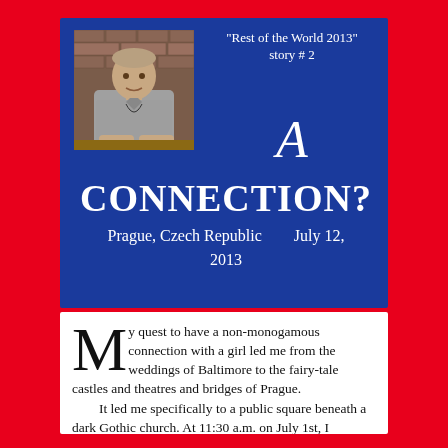[Figure (photo): Photo of a man sitting at a table, wearing a gray shirt, against a brick wall background]
"Rest of the World 2013" story # 2
A
CONNECTION?
Prague, Czech Republic          July 12, 2013
My quest to have a non-monogamous connection with a girl led me from the weddings of Baltimore to the fairy-tale castles and theatres and bridges of Prague.
    It led me specifically to a public square beneath a dark Gothic church. At 11:30 a.m. on July 1st, I attempted to kiss a girl named Maia (pronounced: "Maya").